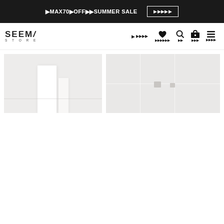▶MAX70▶OFF▶▶SUMMER SALE　▶▶▶▶▶
[Figure (logo): SEEMY STORE logo in bold stylized text]
▶▶▶▶▶
▶▶▶▶▶▶
▶▶
▶▶▶
▶▶▶▶
[Figure (photo): White minimalist product photo on light grey/beige background - left image showing white vertical objects]
[Figure (photo): White minimalist product photo on light grey background - right image showing small grey shapes]